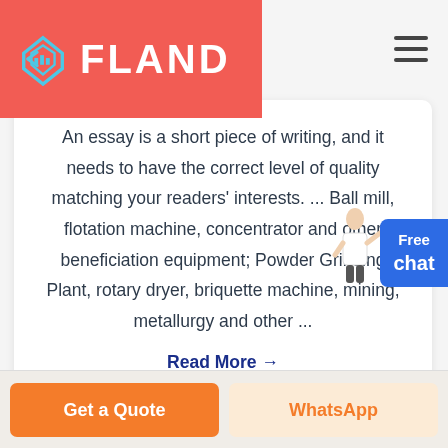[Figure (logo): FLAND logo with diamond/chevron icon on red background header bar]
An essay is a short piece of writing, and it needs to have the correct level of quality matching your readers' interests. ... Ball mill, flotation machine, concentrator and other beneficiation equipment; Powder Grinding Plant, rotary dryer, briquette machine, mining, metallurgy and other ...
Read More →
[Figure (infographic): Free chat button with person illustration, blue rounded rectangle UI element]
Get a Quote
WhatsApp